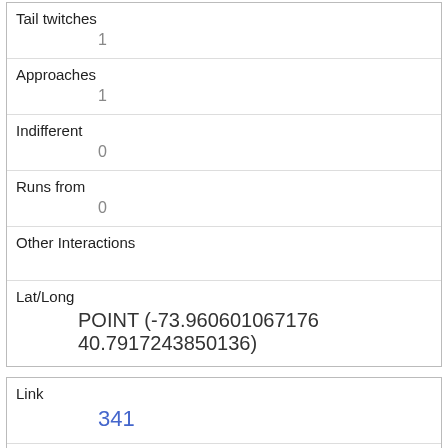| Tail twitches | 1 |
| Approaches | 1 |
| Indifferent | 0 |
| Runs from | 0 |
| Other Interactions |  |
| Lat/Long | POINT (-73.960601067176 40.7917243850136) |
| Link | 341 |
| rowid | 341 |
| longitude | -73.9703161745884 |
| latitude |  |